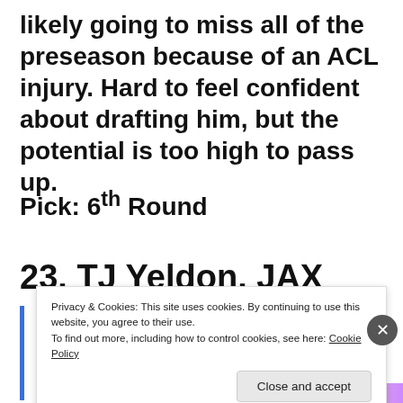likely going to miss all of the preseason because of an ACL injury. Hard to feel confident about drafting him, but the potential is too high to pass up.
Pick: 6th Round
23. TJ Yeldon. JAX
Privacy & Cookies: This site uses cookies. By continuing to use this website, you agree to their use. To find out more, including how to control cookies, see here: Cookie Policy
Close and accept